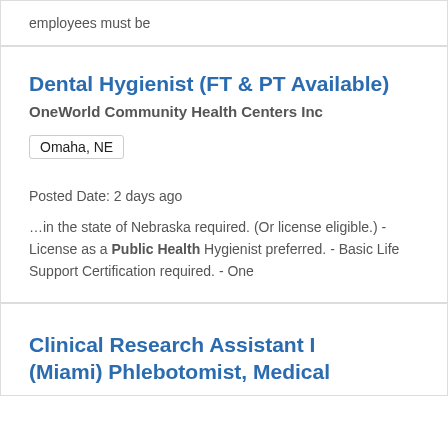employees must be
Dental Hygienist (FT & PT Available)
OneWorld Community Health Centers Inc
Omaha, NE
Posted Date: 2 days ago
…in the state of Nebraska required. (Or license eligible.) - License as a Public Health Hygienist preferred. - Basic Life Support Certification required. - One
Clinical Research Assistant I (Miami) Phlebotomist, Medical